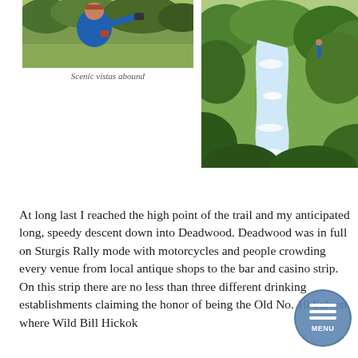[Figure (photo): Man in blue cycling jacket standing outdoors with green trees in background, holding something up, selfie-style]
Scenic vistas abound
[Figure (photo): A rushing stream or creek with white water, surrounded by dense green shrubs and trees, a person standing in the background near the water]
At long last I reached the high point of the trail and my anticipated long, speedy descent down into Deadwood. Deadwood was in full on Sturgis Rally mode with motorcycles and people crowding every venue from local antique shops to the bar and casino strip. On this strip there are no less than three different drinking establishments claiming the honor of being the Old No. 10 Saloon where Wild Bill Hickok